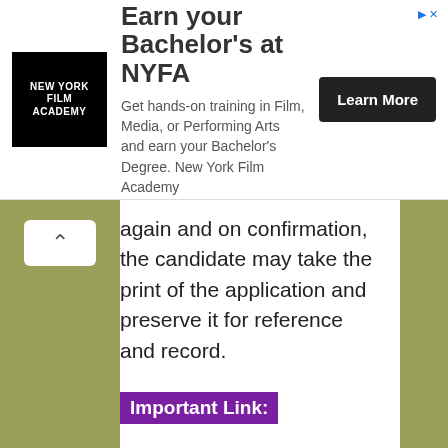[Figure (screenshot): Advertisement banner for New York Film Academy (NYFA) with logo, headline 'Earn your Bachelor's at NYFA', body text about hands-on training, and a 'Learn More' button]
again and on confirmation, the candidate may take the print of the application and preserve it for reference and record.
Important Link: